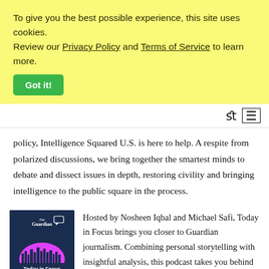To give you the best possible experience, this site uses cookies. Review our Privacy Policy and Terms of Service to learn more.
Got it!
policy, Intelligence Squared U.S. is here to help. A respite from polarized discussions, we bring together the smartest minds to debate and dissect issues in depth, restoring civility and bringing intelligence to the public square in the process.
[Figure (illustration): Today in Focus podcast logo: dark blue background with magenta/pink semicircle and city skyline silhouette, The Guardian logo at top, text 'Today in Focus' at bottom]
Hosted by Nosheen Iqbal and Michael Safi, Today in Focus brings you closer to Guardian journalism. Combining personal storytelling with insightful analysis, this podcast takes you behind